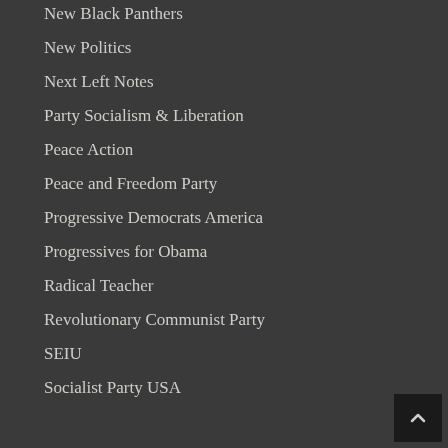New Black Panthers
New Politics
Next Left Notes
Party Socialism & Liberation
Peace Action
Peace and Freedom Party
Progressive Democrats America
Progressives for Obama
Radical Teacher
Revolutionary Communist Party
SEIU
Socialist Party USA